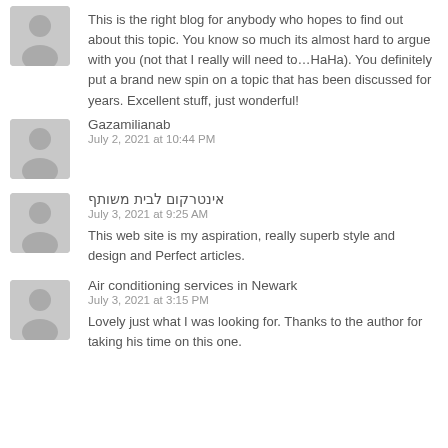[Figure (illustration): Gray placeholder avatar silhouette icon]
This is the right blog for anybody who hopes to find out about this topic. You know so much its almost hard to argue with you (not that I really will need to…HaHa). You definitely put a brand new spin on a topic that has been discussed for years. Excellent stuff, just wonderful!
[Figure (illustration): Gray placeholder avatar silhouette icon]
Gazamilianab
July 2, 2021 at 10:44 PM
[Figure (illustration): Gray placeholder avatar silhouette icon]
אינטרקום לבית משותף
July 3, 2021 at 9:25 AM
This web site is my aspiration, really superb style and design and Perfect articles.
[Figure (illustration): Gray placeholder avatar silhouette icon]
Air conditioning services in Newark
July 3, 2021 at 3:15 PM
Lovely just what I was looking for. Thanks to the author for taking his time on this one.